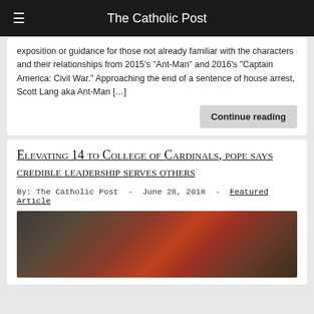The Catholic Post
exposition or guidance for those not already familiar with the characters and their relationships from 2015’s “Ant-Man” and 2016’s “Captain America: Civil War.” Approaching the end of a sentence of house arrest, Scott Lang aka Ant-Man […]
Continue reading
Elevating 14 to College of Cardinals, pope says credible leadership serves others
By: The Catholic Post  -  June 28, 2018  -  Featured Article
[Figure (photo): Photo of cardinals in red hats at a ceremony]